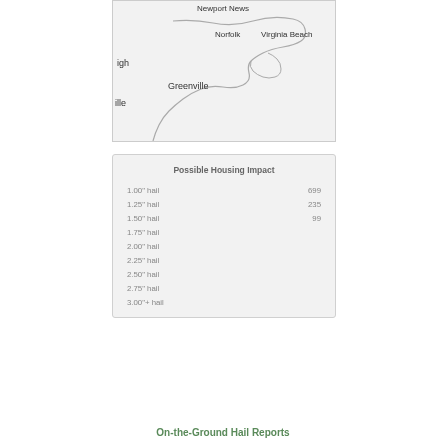[Figure (map): Partial map showing Newport News, Norfolk, and Virginia Beach in Virginia area, with partial labels for 'igh' (Raleigh area) and 'ille', and Greenville, NC visible.]
| Possible Housing Impact |  |
| --- | --- |
| 1.00" hail | 699 |
| 1.25" hail | 235 |
| 1.50" hail | 99 |
| 1.75" hail |  |
| 2.00" hail |  |
| 2.25" hail |  |
| 2.50" hail |  |
| 2.75" hail |  |
| 3.00"+ hail |  |
On-the-Ground Hail Reports